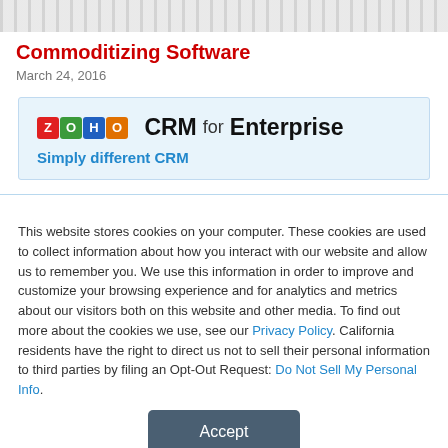[decorative banner image]
Commoditizing Software
March 24, 2016
[Figure (advertisement): Zoho CRM for Enterprise advertisement with tagline 'Simply different CRM']
This website stores cookies on your computer. These cookies are used to collect information about how you interact with our website and allow us to remember you. We use this information in order to improve and customize your browsing experience and for analytics and metrics about our visitors both on this website and other media. To find out more about the cookies we use, see our Privacy Policy. California residents have the right to direct us not to sell their personal information to third parties by filing an Opt-Out Request: Do Not Sell My Personal Info.